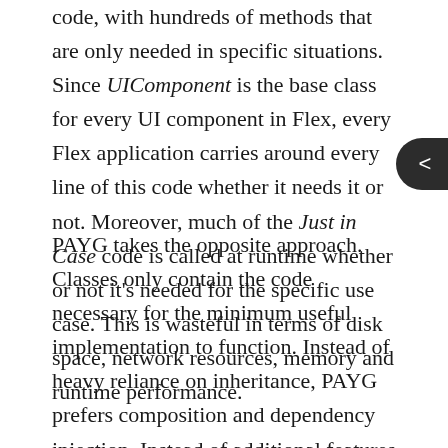code, with hundreds of methods that are only needed in specific situations. Since UIComponent is the base class for every UI component in Flex, every Flex application carries around every line of this code whether it needs it or not. Moreover, much of the Just in Case code is called at runtime whether or not it's needed for the specific use case. This is wasteful in terms of disk space, network resources, memory and runtime performance.
PAYG takes the opposite approach. Classes only contain the code necessary for the minimum useful implementation to function. Instead of heavy reliance on inheritance, PAYG prefers composition and dependency injection. Instead of additional features being baked in, they are composed and